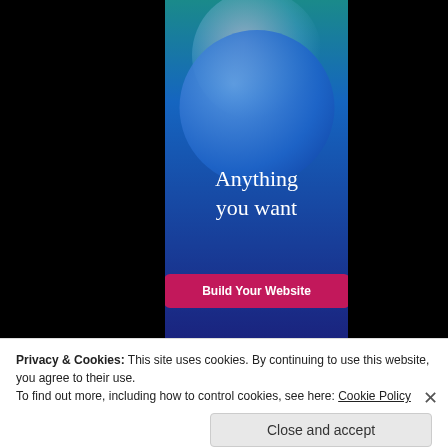[Figure (screenshot): Mobile phone screen showing a website builder app with teal-to-dark-blue gradient background, two overlapping circular bubble graphics in blue and lavender tones, white serif text reading 'Anything you want', and a pink/magenta 'Build Your Website' button at the bottom. Black bars flank the phone screen on left and right.]
Privacy & Cookies: This site uses cookies. By continuing to use this website, you agree to their use.
To find out more, including how to control cookies, see here: Cookie Policy
Close and accept